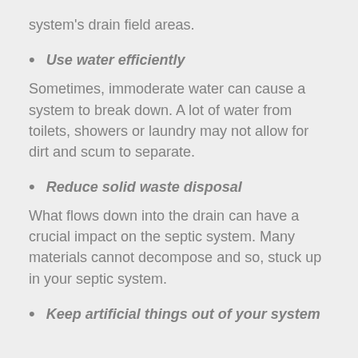system's drain field areas.
Use water efficiently
Sometimes, immoderate water can cause a system to break down. A lot of water from toilets, showers or laundry may not allow for dirt and scum to separate.
Reduce solid waste disposal
What flows down into the drain can have a crucial impact on the septic system. Many materials cannot decompose and so, stuck up in your septic system.
Keep artificial things out of your system